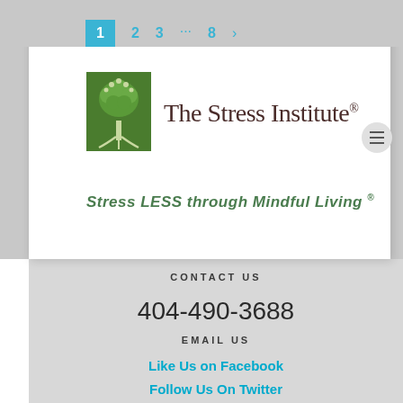1 2 3 ... 8 >
[Figure (logo): The Stress Institute logo: green tree with roots on a green rectangle background, next to the text 'The Stress Institute®']
Stress LESS through Mindful Living ®
CONTACT US
404-490-3688
EMAIL US
Like Us on Facebook
Follow Us On Twitter